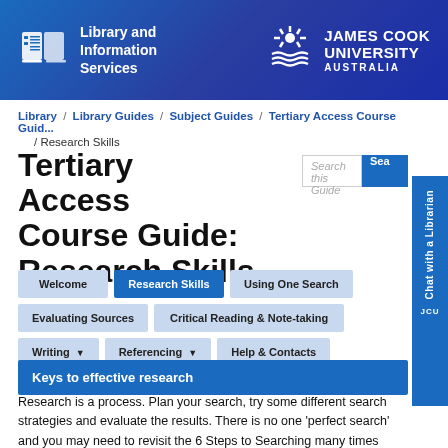[Figure (logo): James Cook University Library and Information Services header banner with book icon, library text, JCU sunburst emblem and JAMES COOK UNIVERSITY AUSTRALIA text on blue gradient background]
Library / Library Guides / Subject Guides / Tertiary Access Course Guide / Research Skills
Tertiary Access Course Guide: Research Skills
Keys to effective research
Research is a process. Plan your search, try some different search strategies and evaluate the results. There is no one 'perfect search' and you may need to revisit the 6 Steps to Searching many times before finding the sources most